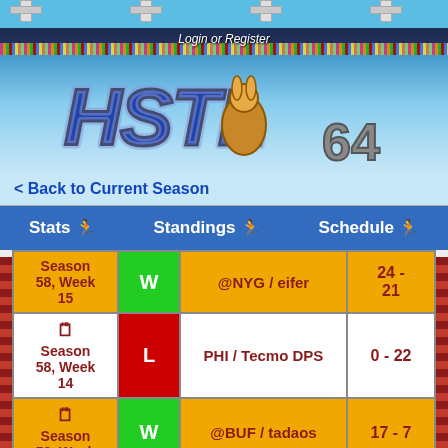[Figure (screenshot): Stadium pixel-art banner with crowd and sky background, HSTL 64 logo with mascot rabbit]
Login or Register
< Back to Current Season
Stats  Standings  Schedule
| Week | W/L | Opponent | Score |
| --- | --- | --- | --- |
| Season 58, Week 15 | W | @NYG / eifer | 24 - 21 |
| Season 58, Week 14 | L | PHI / Tecmo DPS | 0 - 22 |
| Season 58, Week ... | W | @BUF / tadaos | 17 - 7 |